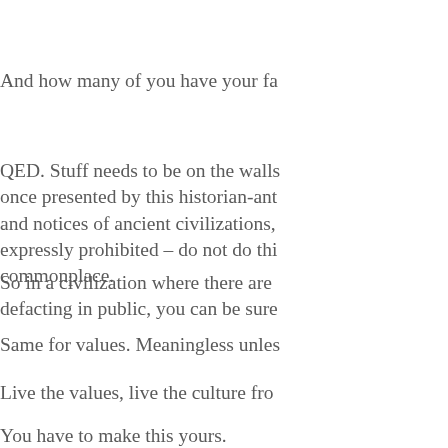And how many of you have your fa
QED. Stuff needs to be on the walls once presented by this historian-ant and notices of ancient civilizations, expressly prohibited – do not do thi commonplace.
So in a civilization where there are defacting in public, you can be sure
Same for values. Meaningless unles
Live the values, live the culture fro
You have to make this yours.
They do at Netflix.
If you have a bored moment tomor